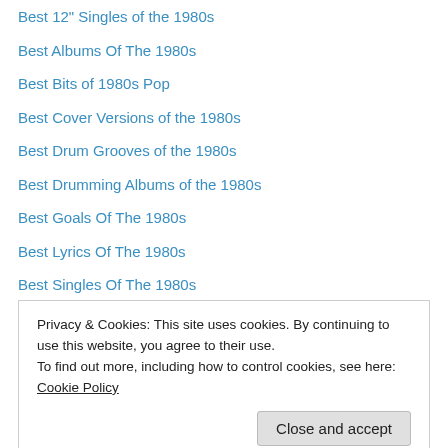Best 12" Singles of the 1980s
Best Albums Of The 1980s
Best Bits of 1980s Pop
Best Cover Versions of the 1980s
Best Drum Grooves of the 1980s
Best Drumming Albums of the 1980s
Best Goals Of The 1980s
Best Lyrics Of The 1980s
Best Singles Of The 1980s
Best TV Ads Of The 1980s
Bill Bruford
Bill Evans
Bill Frisell
Privacy & Cookies: This site uses cookies. By continuing to use this website, you agree to their use.
To find out more, including how to control cookies, see here: Cookie Policy
Bob Ross